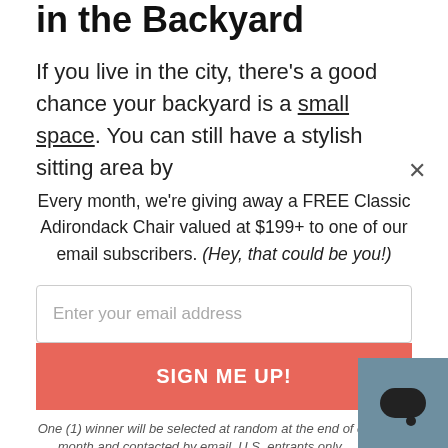in the Backyard
If you live in the city, there's a good chance your backyard is a small space. You can still have a stylish sitting area by
Every month, we're giving away a FREE Classic Adirondack Chair valued at $199+ to one of our email subscribers. (Hey, that could be you!)
Enter your email address
SIGN ME UP!
One (1) winner will be selected at random at the end of each month and contacted by email. U.S. entrants only.